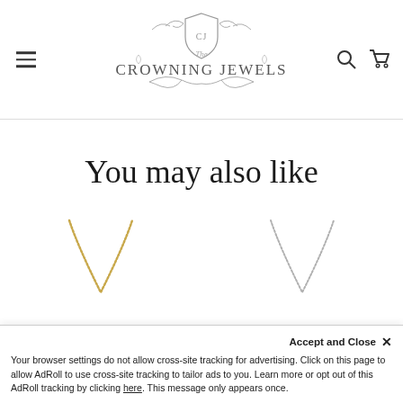[Figure (logo): The Crowning Jewels logo with shield emblem, ornate scrollwork, and brand name text]
You may also like
[Figure (photo): Gold chain necklace forming a V shape on white background]
[Figure (photo): Silver chain necklace forming a V shape on white background]
Accept and Close ×
Your browser settings do not allow cross-site tracking for advertising. Click on this page to allow AdRoll to use cross-site tracking to tailor ads to you. Learn more or opt out of this AdRoll tracking by clicking here. This message only appears once.